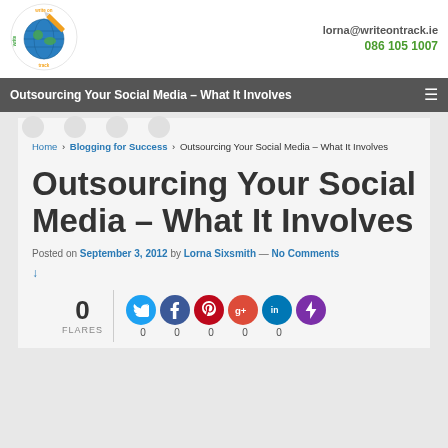[Figure (logo): Write on Track circular logo with globe and pencil, green and orange text]
lorna@writeontrack.ie
086 105 1007
Outsourcing Your Social Media – What It Involves
Home › Blogging for Success › Outsourcing Your Social Media – What It Involves
Outsourcing Your Social Media – What It Involves
Posted on September 3, 2012 by Lorna Sixsmith — No Comments ↓
[Figure (infographic): Social sharing widget showing 0 FLARES with Twitter, Facebook, Pinterest, Google+, LinkedIn, and lightning bolt icons, each showing 0 shares]